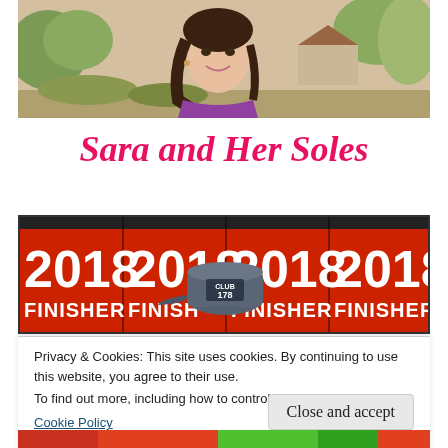[Figure (photo): A young woman with dark hair smiling, wearing a purple athletic top, outdoors with trees and a house in the background]
Sara and Her Soles
[Figure (photo): Multiple red 2018 Finisher race bibs displayed, with a gray 'Club 178' cap visible in the center]
Privacy & Cookies: This site uses cookies. By continuing to use this website, you agree to their use.
To find out more, including how to control cookies, see here:
Cookie Policy
Close and accept